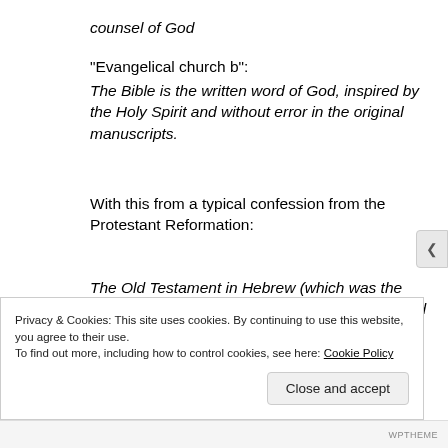counsel of God
“Evangelical church b”:
The Bible is the written word of God, inspired by the Holy Spirit and without error in the original manuscripts.
With this from a typical confession from the Protestant Reformation:
The Old Testament in Hebrew (which was the native language of the people of God of old), and the New Testament in Greek (which at the
Privacy & Cookies: This site uses cookies. By continuing to use this website, you agree to their use. To find out more, including how to control cookies, see here: Cookie Policy
Close and accept